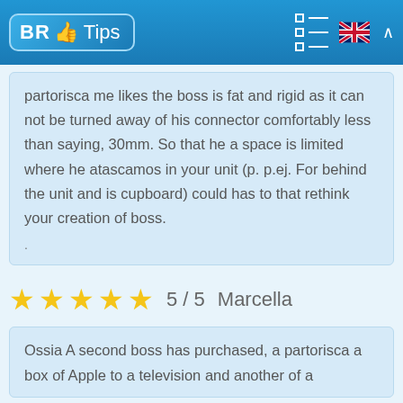BR Tips
partorisca me likes the boss is fat and rigid as it can not be turned away of his connector comfortably less than saying, 30mm. So that he a space is limited where he atascamos in your unit (p. p.ej. For behind the unit and is cupboard) could has to that rethink your creation of boss.
.
5 / 5  Marcella
Ossia A second boss has purchased, a partorisca a box of Apple to a television and another of a